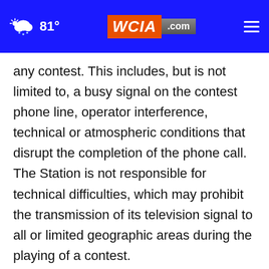81° WCIA.com
any contest. This includes, but is not limited to, a busy signal on the contest phone line, operator interference, technical or atmospheric conditions that disrupt the completion of the phone call. The Station is not responsible for technical difficulties, which may prohibit the transmission of its television signal to all or limited geographic areas during the playing of a contest.
The Station is not responsible for telephone, network, electronic or computer failures of any kind, or for entries that are stolen, misdirected, incomplete, garbled, delayed by computer transmissions, lost